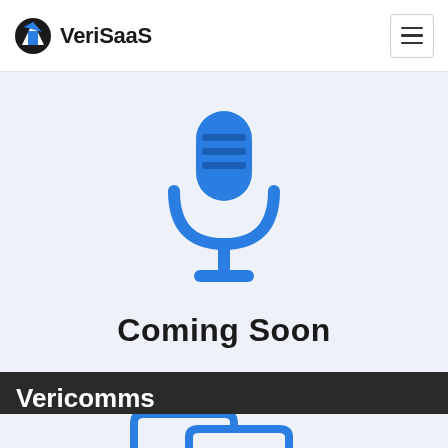VeriSaaS
[Figure (illustration): Blue microphone icon centered on a light blue-gray background]
Coming Soon
Vericomms
[Figure (illustration): Two blue speech bubble chat icons overlapping, on a light blue-gray background]